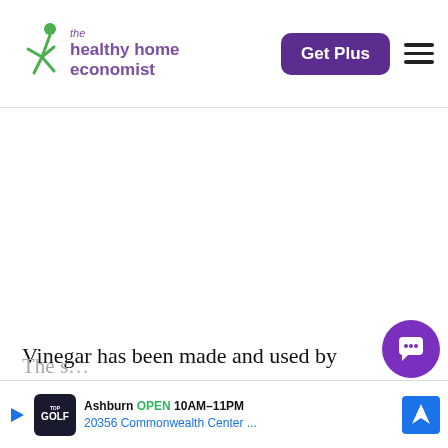the healthy home economist — Get Plus
[Figure (logo): The Healthy Home Economist logo with green jumping figure and purple text]
Vinegar has been made and used by humankind for thousands of years. Traces of it have been found in Egyptian urns discovered during archaeological digs dating back to 3000 BC.
The ...
[Figure (screenshot): Advertisement banner: Topgolf Ashburn OPEN 10AM-11PM 20356 Commonwealth Center...]